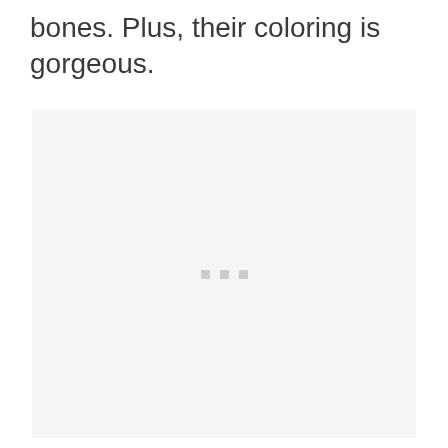bones. Plus, their coloring is gorgeous.
[Figure (photo): Large image placeholder with light gray background and three small gray squares centered, indicating an image that has not loaded.]